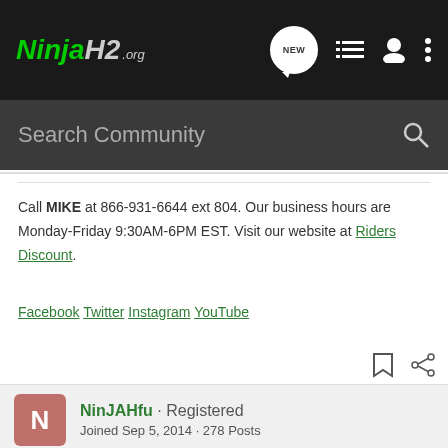NinjaH2.org — navigation bar with NEW, list, user, and menu icons
Search Community
Call MIKE at 866-931-6644 ext 804. Our business hours are Monday-Friday 9:30AM-6PM EST. Visit our website at Riders Discount.
Facebook  Twitter  Instagram  YouTube
NinJAHfu · Registered
Joined Sep 5, 2014 · 278 Posts
#2 · Oct 23, 2014
Aweson
[Figure (screenshot): Suzuki GSX-S1000 GT advertisement banner with motorcycle image]